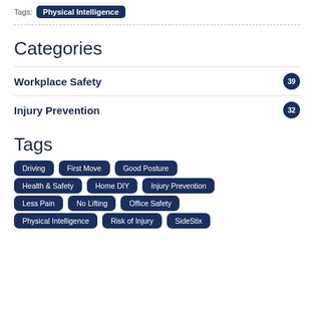Tags: Physical Intelligence
Categories
Workplace Safety — 39
Injury Prevention — 32
Tags
Driving
First Move
Good Posture
Health & Safety
Home DIY
Injury Prevention
Less Pain
No Lifting
Office Safety
Physical Intelligence
Risk of Injury
SideStix